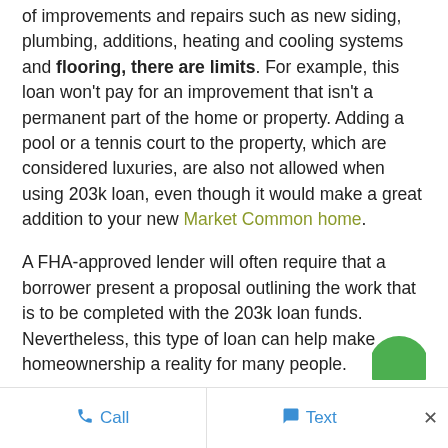of improvements and repairs such as new siding, plumbing, additions, heating and cooling systems and flooring, there are limits. For example, this loan won't pay for an improvement that isn't a permanent part of the home or property. Adding a pool or a tennis court to the property, which are considered luxuries, are also not allowed when using 203k loan, even though it would make a great addition to your new Market Common home.
A FHA-approved lender will often require that a borrower present a proposal outlining the work that is to be completed with the 203k loan funds. Nevertheless, this type of loan can help make homeownership a reality for many people.
Call   Text